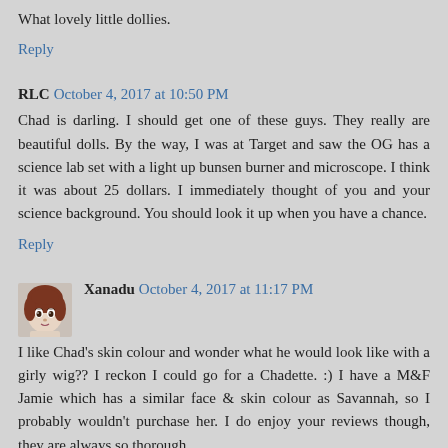What lovely little dollies.
Reply
RLC  October 4, 2017 at 10:50 PM
Chad is darling. I should get one of these guys. They really are beautiful dolls. By the way, I was at Target and saw the OG has a science lab set with a light up bunsen burner and microscope. I think it was about 25 dollars. I immediately thought of you and your science background. You should look it up when you have a chance.
Reply
Xanadu  October 4, 2017 at 11:17 PM
I like Chad's skin colour and wonder what he would look like with a girly wig?? I reckon I could go for a Chadette. :) I have a M&F Jamie which has a similar face & skin colour as Savannah, so I probably wouldn't purchase her. I do enjoy your reviews though, they are always so thorough.
Hugs,